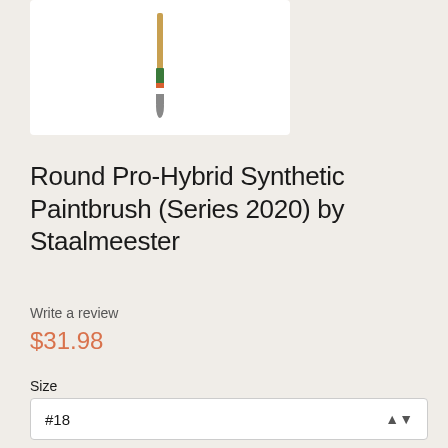[Figure (photo): Product image of a paintbrush (Round Pro-Hybrid Synthetic Paintbrush) with green and orange handle on white background]
Round Pro-Hybrid Synthetic Paintbrush (Series 2020) by Staalmeester
Write a review
$31.98
Size
#18
Quantity